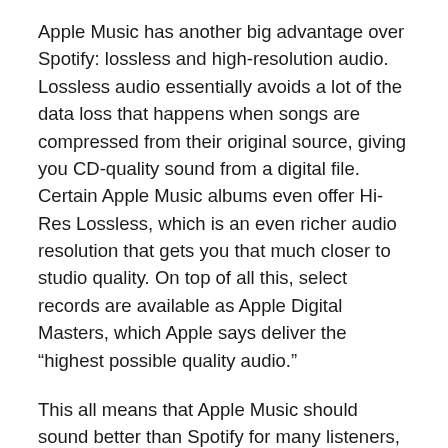Apple Music has another big advantage over Spotify: lossless and high-resolution audio. Lossless audio essentially avoids a lot of the data loss that happens when songs are compressed from their original source, giving you CD-quality sound from a digital file. Certain Apple Music albums even offer Hi-Res Lossless, which is an even richer audio resolution that gets you that much closer to studio quality. On top of all this, select records are available as Apple Digital Masters, which Apple says deliver the “highest possible quality audio.”
This all means that Apple Music should sound better than Spotify for many listeners, though your mileage may vary. You’ll need to wear wired headphones to reap the benefits of lossless audio, and even then, you’ll need a